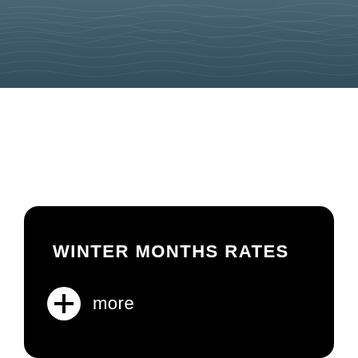[Figure (photo): Aerial or close-up photo of dark rippling water surface, bluish-gray tones]
WINTER MONTHS RATES
more